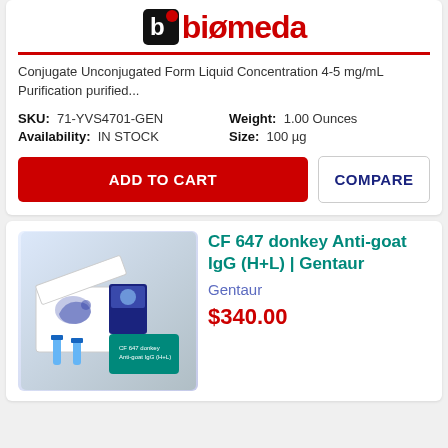[Figure (logo): Biomeda logo with black B icon and red text]
Conjugate Unconjugated Form Liquid Concentration 4-5 mg/mL Purification purified...
SKU: 71-YVS4701-GEN   Weight: 1.00 Ounces
Availability: IN STOCK   Size: 100 µg
ADD TO CART
COMPARE
[Figure (photo): Product photo showing antibody kit with white boxes, vials and labeled packaging for CF 647 donkey Anti-goat IgG (H+L)]
CF 647 donkey Anti-goat IgG (H+L) | Gentaur
Gentaur
$340.00